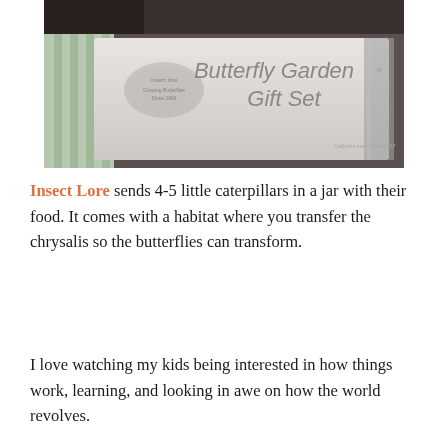[Figure (photo): Photo of an Insect Lore Butterfly Garden Gift Set box. The box is light colored with the Insect Lore logo on the left and text reading 'Butterfly Garden Gift Set' in large gray letters. Below the logo it says 'Growing Butterflies Since 1966'. The background shows some striped fabric and a metallic object.]
Insect Lore sends 4-5 little caterpillars in a jar with their food. It comes with a habitat where you transfer the chrysalis so the butterflies can transform.
I love watching my kids being interested in how things work, learning, and looking in awe on how the world revolves.